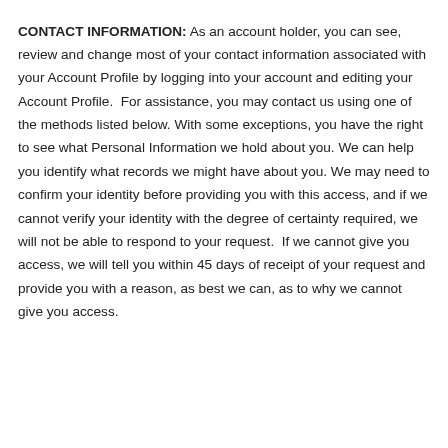CONTACT INFORMATION: As an account holder, you can see, review and change most of your contact information associated with your Account Profile by logging into your account and editing your Account Profile.  For assistance, you may contact us using one of the methods listed below. With some exceptions, you have the right to see what Personal Information we hold about you. We can help you identify what records we might have about you. We may need to confirm your identity before providing you with this access, and if we cannot verify your identity with the degree of certainty required, we will not be able to respond to your request.  If we cannot give you access, we will tell you within 45 days of receipt of your request and provide you with a reason, as best we can, as to why we cannot give you access.